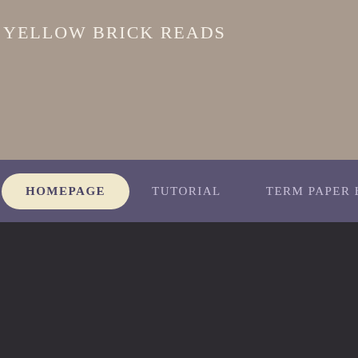YELLOW BRICK READS
HOMEPAGE   TUTORIAL   TERM PAPER HEL